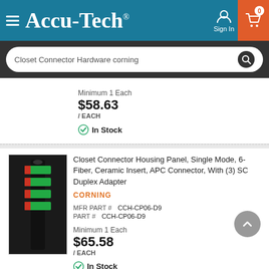[Figure (logo): Accu-Tech logo with hamburger menu on teal/blue header bar, sign in icon, and orange cart icon with 0 badge]
[Figure (screenshot): Search bar with text 'Closet Connector Hardware corning' on dark background]
Minimum 1 Each
$58.63
/ EACH
In Stock
[Figure (photo): Product image of a black fiber optic closet connector housing panel with green and red connectors]
Closet Connector Housing Panel, Single Mode, 6-Fiber, Ceramic Insert, APC Connector, With (3) SC Duplex Adapter
CORNING
MFR PART #   CCH-CP06-D9
PART #   CCH-CP06-D9
Minimum 1 Each
$65.58
/ EACH
In Stock
Closet Connector Housing (CCH) Panel, LC adapters, Duplex, 6-fiber, 50 um multimode (OM2)